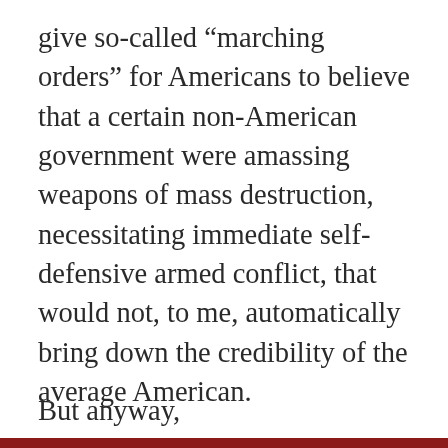give so-called “marching orders” for Americans to believe that a certain non-American government were amassing weapons of mass destruction, necessitating immediate self-defensive armed conflict, that would not, to me, automatically bring down the credibility of the average American.
But anyway,